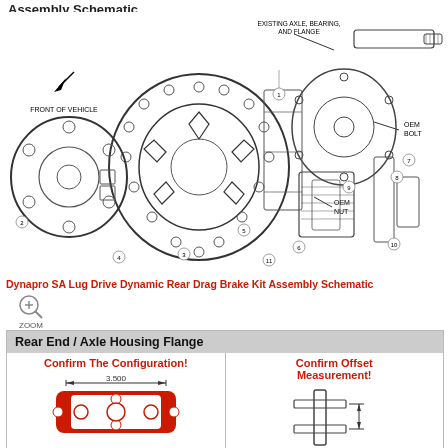Assembly Schematic
[Figure (schematic): Exploded assembly schematic of a Dynapro SA Lug Drive Dynamic Rear Drag Brake Kit showing numbered components including rotor, caliper, bracket, axle, flange, OEM bolt, OEM nut, and other parts with callout lines and labels: EXISTING AXLE, BEARING, AND FLANGE; OEM BOLT; OEM NUT; FRONT OF VEHICLE.]
Dynapro SA Lug Drive Dynamic Rear Drag Brake Kit Assembly Schematic
[Figure (other): Zoom magnifier icon with label ZOOM below it]
| Confirm The Configuration! | Confirm Offset Measurement! |
| --- | --- |
| [diagram showing 3.500 dimension flange] | [diagram showing offset measurement] |